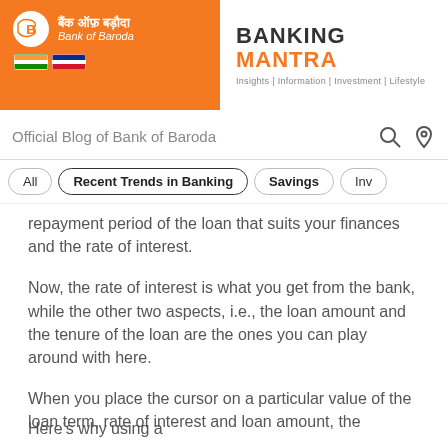Bank of Baroda — BANKING MANTRA — Insights | Information | Investment | Lifestyle
Official Blog of Bank of Baroda
All
Recent Trends in Banking
Savings
Inv
repayment period of the loan that suits your finances and the rate of interest.
Now, the rate of interest is what you get from the bank, while the other two aspects, i.e., the loan amount and the tenure of the loan are the ones you can play around with here.
When you place the cursor on a particular value of the loan term, rate of interest and loan amount, the
We use cookies (and similar tools) to enhance your experience on our website. To learn more on our cookie policy, Privacy Policy and Terms & Conditions please click here. By continuing to browse this website, you consent to our use of cookies and agree to the Privacy Policy and Terms & Conditions.
Here's why using a